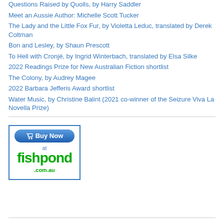Questions Raised by Quolls, by Harry Saddler
Meet an Aussie Author: Michelle Scott Tucker
The Lady and the Little Fox Fur, by Violetta Leduc, translated by Derek Coltman
Bon and Lesley, by Shaun Prescott
To Hell with Cronjé, by Ingrid Winterbach, translated by Elsa Silke
2022 Readings Prize for New Australian Fiction shortlist
The Colony, by Audrey Magee
2022 Barbara Jefferis Award shortlist
Water Music, by Christine Balint (2021 co-winner of the Seizure Viva La Novella Prize)
[Figure (logo): Buy Now at fishpond.com.au button/logo with shopping cart icon, blue Buy Now pill button, green fishpond.com.au text]